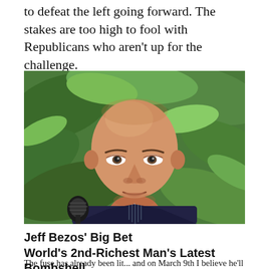to defeat the left going forward. The stakes are too high to fool with Republicans who aren't up for the challenge.
[Figure (photo): Close-up photo of Jeff Bezos, a bald man in a dark suit with a striped shirt, speaking into a microphone, with green tropical foliage in the background.]
Jeff Bezos' Big Bet World's 2nd-Richest Man's Latest Bombshell
The fuse has already been lit... and on March 9th I believe he'll